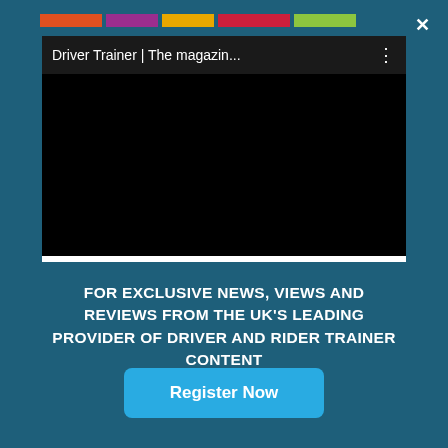[Figure (screenshot): Video player showing 'Driver Trainer | The magazin...' with a black screen and white progress bar below]
FOR EXCLUSIVE NEWS, VIEWS AND REVIEWS FROM THE UK'S LEADING PROVIDER OF DRIVER AND RIDER TRAINER CONTENT
Register Now